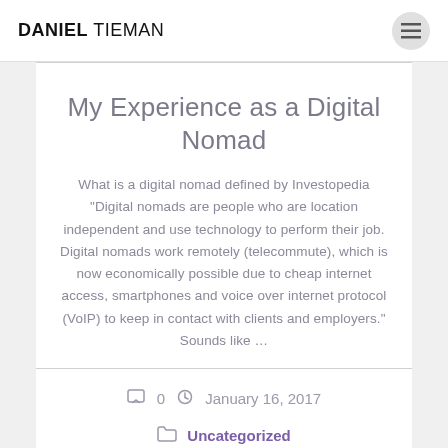DANIEL TIEMAN
My Experience as a Digital Nomad
What is a digital nomad defined by Investopedia "Digital nomads are people who are location independent and use technology to perform their job. Digital nomads work remotely (telecommute), which is now economically possible due to cheap internet access, smartphones and voice over internet protocol (VoIP) to keep in contact with clients and employers." Sounds like …
0  January 16, 2017
Uncategorized